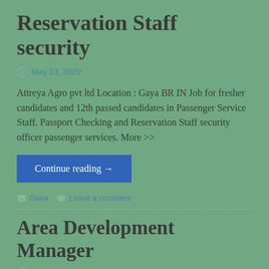Reservation Staff security
May 23, 2020
Attreya Agro pvt ltd Location : Gaya BR IN Job for fresher candidates and 12th passed candidates in Passenger Service Staff. Passport Checking and Reservation Staff security officer passenger services. More >>
Continue reading →
Gaya   Leave a comment
Area Development Manager
May 17, 2020